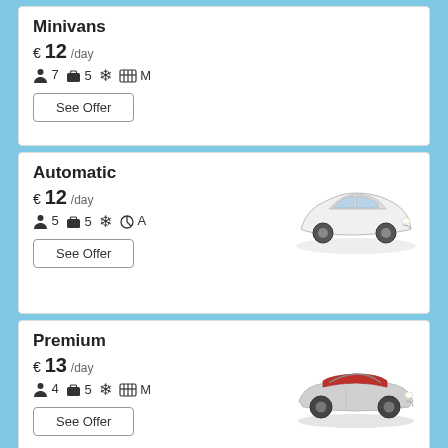Minivans
€ 12 /day
7 passengers, 5 luggage, AC, M (manual)
See Offer
Automatic
€ 12 /day
5 passengers, 5 luggage, AC, A (automatic)
[Figure (photo): White hatchback car (Volvo V40 style) viewed from front-right angle]
See Offer
Premium
€ 13 /day
4 passengers, 5 luggage, AC, M (manual)
[Figure (photo): Silver convertible car (VW Eos style) with red interior, viewed from front-right angle]
See Offer